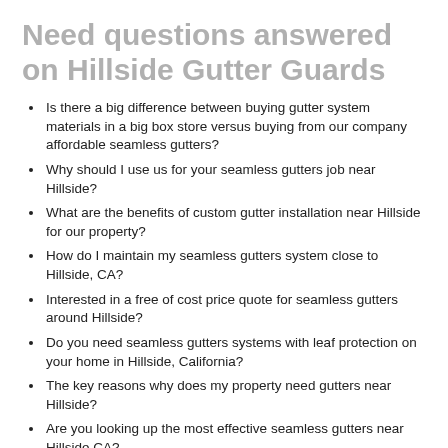Need questions answered on Hillside Gutter Guards
Is there a big difference between buying gutter system materials in a big box store versus buying from our company affordable seamless gutters?
Why should I use us for your seamless gutters job near Hillside?
What are the benefits of custom gutter installation near Hillside for our property?
How do I maintain my seamless gutters system close to Hillside, CA?
Interested in a free of cost price quote for seamless gutters around Hillside?
Do you need seamless gutters systems with leaf protection on your home in Hillside, California?
The key reasons why does my property need gutters near Hillside?
Are you looking up the most effective seamless gutters near Hillside CA?